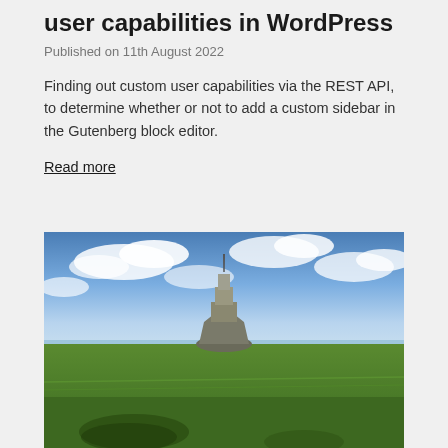user capabilities in WordPress
Published on 11th August 2022
Finding out custom user capabilities via the REST API, to determine whether or not to add a custom sidebar in the Gutenberg block editor.
Read more
[Figure (photo): Landscape photograph of Mont Saint-Michel, a rocky island with a medieval monastery/castle on top, surrounded by a wide flat green marshland in the foreground and a partly cloudy blue sky above.]